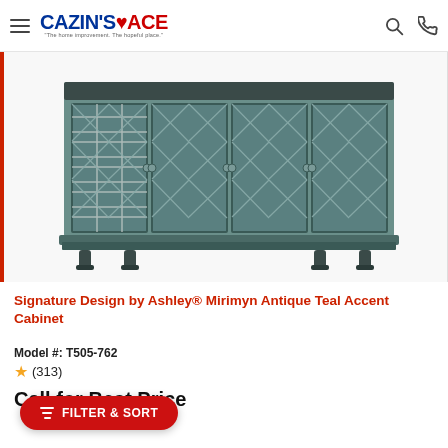Cazin's Ace
[Figure (photo): Signature Design by Ashley Mirimyn Antique Teal Accent Cabinet - a wide cabinet with four doors featuring diamond/lattice pattern glass panels, painted in antique teal/blue-grey finish, with decorative turned feet]
Signature Design by Ashley® Mirimyn Antique Teal Accent Cabinet
Model #: T505-762
★ (313)
Call for Best Price